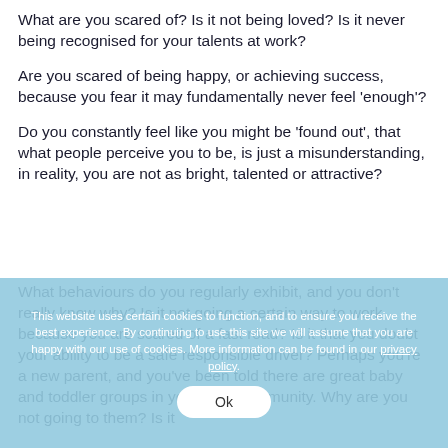What are you scared of? Is it not being loved? Is it never being recognised for your talents at work?
Are you scared of being happy, or achieving success, because you fear it may fundamentally never feel 'enough'?
Do you constantly feel like you might be 'found out', that what people perceive you to be, is just a misunderstanding, in reality, you are not as bright, talented or attractive?
What behaviours do you regularly exhibit, and you don't really know why? Is it not going a certain way to work because you are scared of a fast road? Is it that you doubt your ability to be a safe responsible driver? Perhaps you're a new parent, and you've been told there are great baby and toddler groups in your local community. Why are you not going to them? Is it
This website uses certain cookies to function, and to ensure you receive the best experience. By continuing to use this site we will assume that you are happy with our use of cookies. More information can be found in our privacy policy.